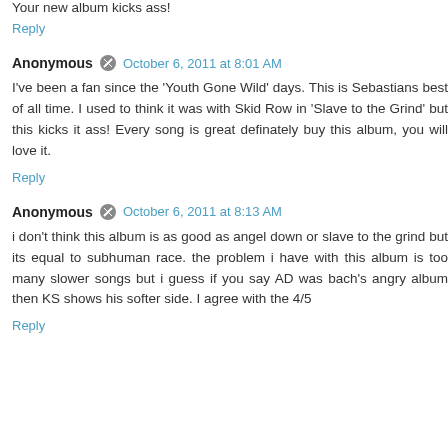Your new album kicks ass!
Reply
Anonymous • October 6, 2011 at 8:01 AM
I've been a fan since the 'Youth Gone Wild' days. This is Sebastians best of all time. I used to think it was with Skid Row in 'Slave to the Grind' but this kicks it ass! Every song is great definately buy this album, you will love it.
Reply
Anonymous • October 6, 2011 at 8:13 AM
i don't think this album is as good as angel down or slave to the grind but its equal to subhuman race. the problem i have with this album is too many slower songs but i guess if you say AD was bach's angry album then KS shows his softer side. I agree with the 4/5
Reply